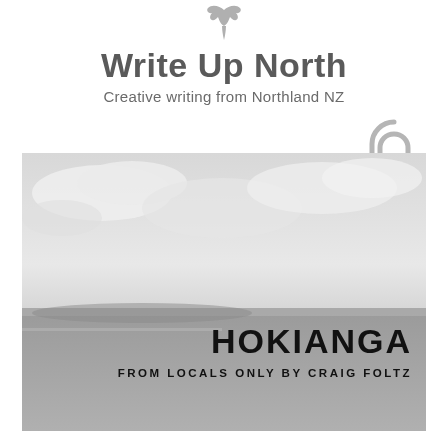[Figure (logo): Small bird silhouette logo above the title]
Write Up North
Creative writing from Northland NZ
[Figure (photo): Black and white landscape photograph of Hokianga harbour with cloudy sky and water. Overlaid text reads HOKIANGA / FROM LOCALS ONLY BY CRAIG FOLTZ. A paper clip graphic appears on the upper right of the image.]